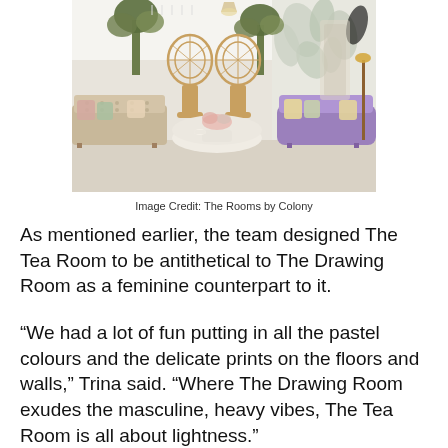[Figure (photo): Interior photo of an elegant event or lounge space called The Tea Room. Two beige tufted sofas flank rattan peacock chairs around a white fluted round coffee table with floral centerpiece. A purple velvet sofa sits on the right. Tropical plants and a botanical mural wall decorate the background. Bright, airy white lighting overhead.]
Image Credit: The Rooms by Colony
As mentioned earlier, the team designed The Tea Room to be antithetical to The Drawing Room as a feminine counterpart to it.
“We had a lot of fun putting in all the pastel colours and the delicate prints on the floors and walls,” Trina said. “Where The Drawing Room exudes the masculine, heavy vibes, The Tea Room is all about lightness.”